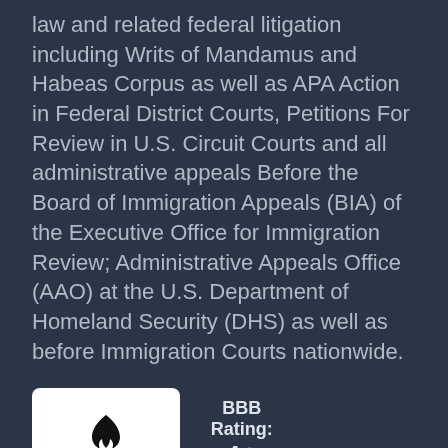law and related federal litigation including Writs of Mandamus and Habeas Corpus as well as APA Action in Federal District Courts, Petitions For Review in U.S. Circuit Courts and all administrative appeals Before the Board of Immigration Appeals (BIA) of the Executive Office for Immigration Review; Administrative Appeals Office (AAO) at the U.S. Department of Homeland Security (DHS) as well as before Immigration Courts nationwide.
[Figure (logo): BBB Accredited Business logo with flame icon and BBB Rating: A+ As of 8/21/2022, Click for Profile]
Contact information
27 Whitehall Street, 5th Fl